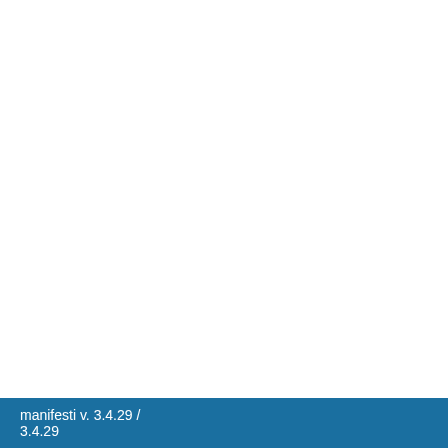|  |  | Title |
| --- | --- | --- |
|  |  | Modeling and analysis of… (Show >>) |
|  |  | Particle Filtering for Prog… Initialization Strategy Bas… |
|  |  | Redundancy allocation p… |
|  |  | Reinforcement learning-b… (Show >>) |
|  |  | Reliability assessment of… components (Show >>) |
|  |  | Reliability assessment of… |
|  |  | Remaining useful life pre… Application to draught fa… |
|  |  | Scenario Analysis for the… (Show >>) |
|  |  | Seismic fragility analysis… equipment (Show >>) |
|  |  | System Risk Importance… |
|  |  | The evolution of system r… |
|  |  | The future of risk assess… |
|  |  | Uncertainty theory as a b… |
manifesti v. 3.4.29 / 3.4.29   Area Servizi ICT   01/09/2022